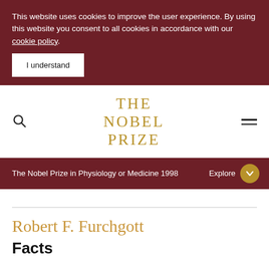This website uses cookies to improve the user experience. By using this website you consent to all cookies in accordance with our cookie policy.
I understand
[Figure (logo): The Nobel Prize logo with search and menu icons in navigation bar]
The Nobel Prize in Physiology or Medicine 1998
Explore
Robert F. Furchgott
Facts